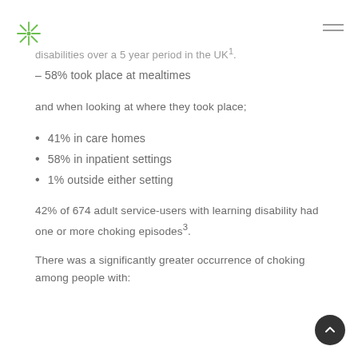disabilities over a 5 year period in the UK¹.
– 58% took place at mealtimes
and when looking at where they took place;
41% in care homes
58% in inpatient settings
1% outside either setting
42% of 674 adult service-users with learning disability had one or more choking episodes³.
There was a significantly greater occurrence of choking among people with: